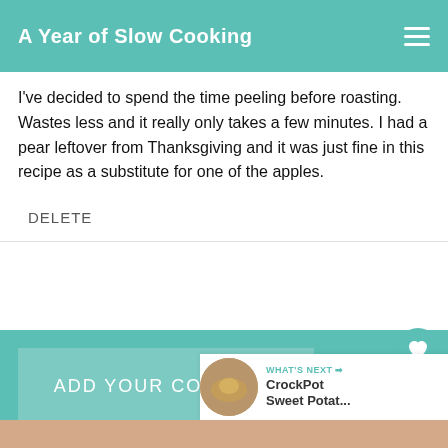A Year of Slow Cooking
I've decided to spend the time peeling before roasting. Wastes less and it really only takes a few minutes. I had a pear leftover from Thanksgiving and it was just fine in this recipe as a substitute for one of the apples.
DELETE
ADD YOUR COMMENT
1
WHAT'S NEXT → CrockPot Sweet Potat...